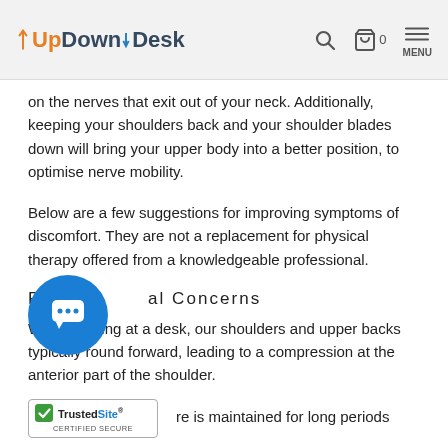UpDownDesk
on the nerves that exit out of your neck. Additionally, keeping your shoulders back and your shoulder blades down will bring your upper body into a better position, to optimise nerve mobility.
Below are a few suggestions for improving symptoms of discomfort. They are not a replacement for physical therapy offered from a knowledgeable professional.
Postural Concerns
While working at a desk, our shoulders and upper backs typically round forward, leading to a compression at the anterior part of the shoulder.
re is maintained for long periods